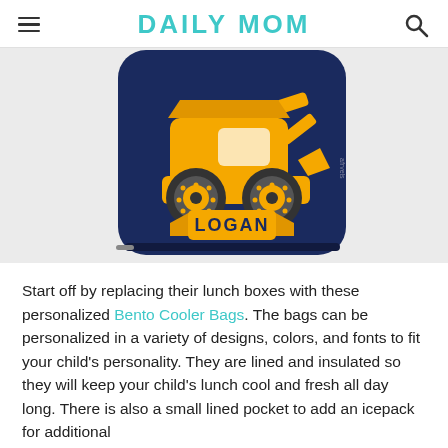DAILY MOM
[Figure (photo): Navy blue personalized bento cooler lunch bag with a yellow construction bulldozer/front loader graphic on the front and the name 'LOGAN' printed in bold black letters on a yellow banner at the bottom of the graphic.]
Start off by replacing their lunch boxes with these personalized Bento Cooler Bags. The bags can be personalized in a variety of designs, colors, and fonts to fit your child's personality. They are lined and insulated so they will keep your child's lunch cool and fresh all day long. There is also a small lined pocket to add an icepack for additional